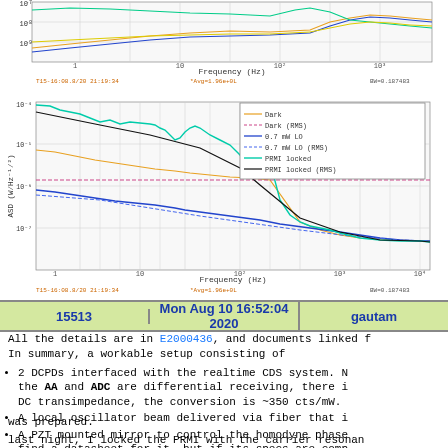[Figure (continuous-plot): Top ASD plot (partial, cropped), log-log plot of ASD vs Frequency (Hz), showing multiple colored traces (orange, blue, green, yellow). Y-axis: 10^-9 to 10^-7 range visible. X-axis: Frequency (Hz) from ~0.1 to 10^4. Timestamp and BW annotations below.]
[Figure (continuous-plot): DCPD Null ASD log-log plot. Y-axis: ASD (W/Hz^-1/2), range ~10^-7 to ~10^-4. X-axis: Frequency (Hz). Traces: Dark (orange), Dark RMS (yellow dashed), 0.7 mW LO (blue), 0.7 mW LO RMS (blue dashed), PRMI locked (cyan/green), PRMI locked RMS (black). Legend box shown top-right area.]
| 15513 | Mon Aug 10 16:52:04 2020 | gautam |
| --- | --- | --- |
All the details are in E2000436, and documents linked f
In summary, a workable setup consisting of
2 DCPDs interfaced with the realtime CDS system. N the AA and ADC are differential receiving, there i DC transimpedance, the conversion is ~350 cts/mW.
A local oscillator beam delivered via fiber that i
A PZT mounted mirror to control the homodyne phase find a datasheet for it, but if its specs are comp um, for a max applied voltage of 100 V DC, so 100n
was prepared.
last night, I locked the PRMI with the carrier resonan